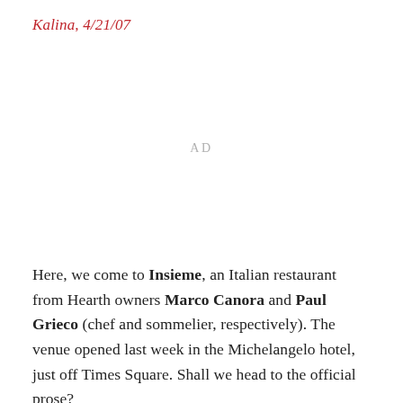Kalina, 4/21/07
[Figure (other): Advertisement placeholder area with 'AD' label in light gray text]
Here, we come to Insieme, an Italian restaurant from Hearth owners Marco Canora and Paul Grieco (chef and sommelier, respectively). The venue opened last week in the Michelangelo hotel, just off Times Square. Shall we head to the official prose?